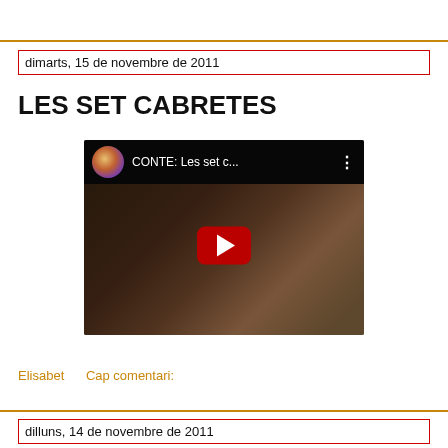dimarts, 15 de novembre de 2011
LES SET CABRETES
[Figure (screenshot): YouTube video thumbnail showing 'CONTE: Les set c...' with a circular avatar, dark background with illustrated characters, and a red play button in the center.]
Elisabet     Cap comentari:
dilluns, 14 de novembre de 2011